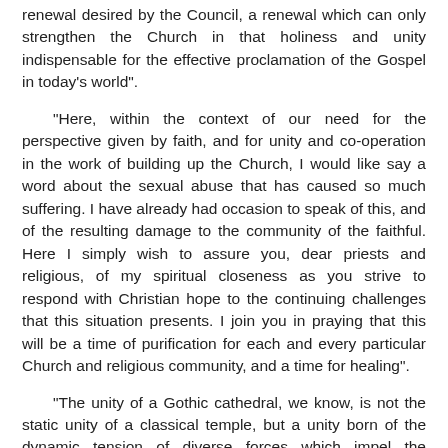renewal desired by the Council, a renewal which can only strengthen the Church in that holiness and unity indispensable for the effective proclamation of the Gospel in today's world".
"Here, within the context of our need for the perspective given by faith, and for unity and co-operation in the work of building up the Church, I would like say a word about the sexual abuse that has caused so much suffering. I have already had occasion to speak of this, and of the resulting damage to the community of the faithful. Here I simply wish to assure you, dear priests and religious, of my spiritual closeness as you strive to respond with Christian hope to the continuing challenges that this situation presents. I join you in praying that this will be a time of purification for each and every particular Church and religious community, and a time for healing".
"The unity of a Gothic cathedral, we know, is not the static unity of a classical temple, but a unity born of the dynamic tension of diverse forces which impel the architecture upward, pointing it to heaven. Here too, we can see a